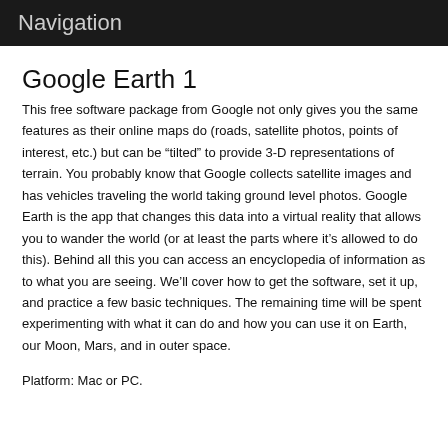Navigation
Google Earth 1
This free software package from Google not only gives you the same features as their online maps do (roads, satellite photos, points of interest, etc.) but can be “tilted” to provide 3-D representations of terrain. You probably know that Google collects satellite images and has vehicles traveling the world taking ground level photos. Google Earth is the app that changes this data into a virtual reality that allows you to wander the world (or at least the parts where it’s allowed to do this). Behind all this you can access an encyclopedia of information as to what you are seeing. We’ll cover how to get the software, set it up, and practice a few basic techniques. The remaining time will be spent experimenting with what it can do and how you can use it on Earth, our Moon, Mars, and in outer space.
Platform: Mac or PC.